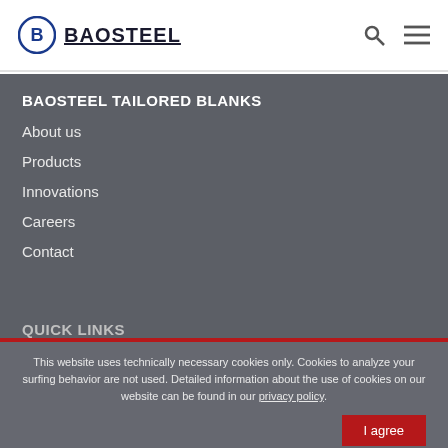BAOSTEEL
BAOSTEEL TAILORED BLANKS
About us
Products
Innovations
Careers
Contact
QUICK LINKS
This website uses technically necessary cookies only. Cookies to analyze your surfing behavior are not used. Detailed information about the use of cookies on our website can be found in our privacy policy.